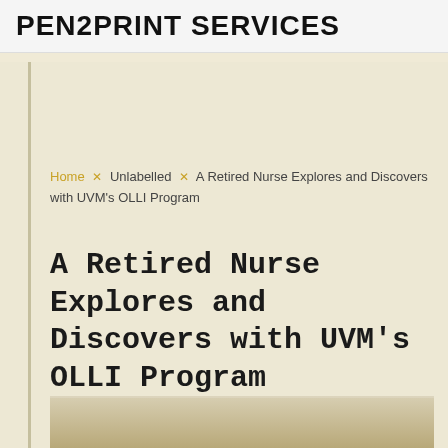PEN2PRINT SERVICES
Home × Unlabelled × A Retired Nurse Explores and Discovers with UVM's OLLI Program
A Retired Nurse Explores and Discovers with UVM's OLLI Program